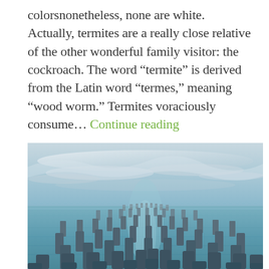colorsnonetheless, none are white. Actually, termites are a really close relative of the other wonderful family visitor: the cockroach. The word “termite” is derived from the Latin word “termes,” meaning “wood worm.” Termites voraciously consume... Continue reading
[Figure (photo): Landscape photograph of numerous weathered wooden pier pilings rising from calm water under a cloudy sky, receding into the distance in perspective rows.]